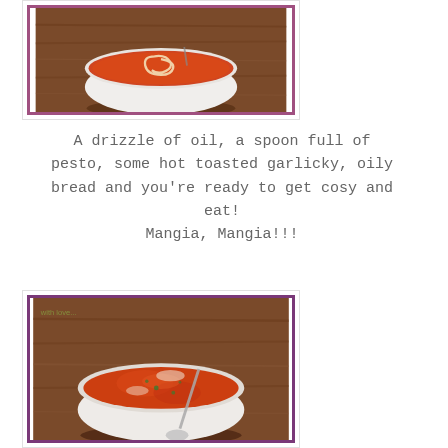[Figure (photo): Top-down view of a white bowl of tomato soup with cream swirl pattern on a wooden table, purple border]
A drizzle of oil, a spoon full of pesto, some hot toasted garlicky, oily bread and you're ready to get cosy and eat!
Mangia, Mangia!!!
[Figure (photo): Top-down view of a white bowl of tomato soup with herbs and a spoon, on a wooden table, purple border]